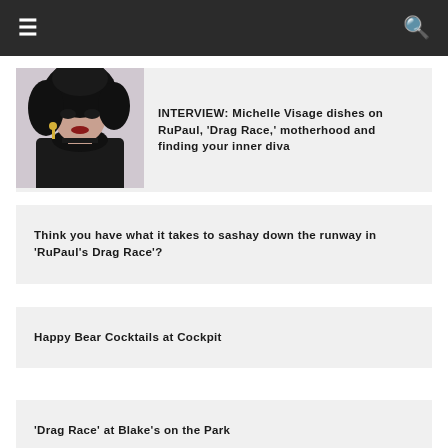☰ [navigation] 🔍 [search]
[Figure (photo): Photo of Michelle Visage in black outfit with dramatic makeup and big curly black hair]
INTERVIEW: Michelle Visage dishes on RuPaul, 'Drag Race,' motherhood and finding your inner diva
Think you have what it takes to sashay down the runway in 'RuPaul's Drag Race'?
Happy Bear Cocktails at Cockpit
'Drag Race' at Blake's on the Park